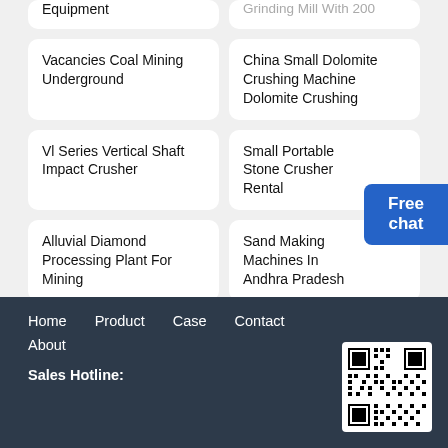Equipment
Grinding Mill With 200
Vacancies Coal Mining Underground
China Small Dolomite Crushing Machine Dolomite Crushing
Vl Series Vertical Shaft Impact Crusher
Small Portable Stone Crusher Rental
Alluvial Diamond Processing Plant For Mining
Sand Making Machines In Andhra Pradesh
Sanvac Stone Crusher
Free chat
Home   Product   Case   Contact   About
Sales Hotline: